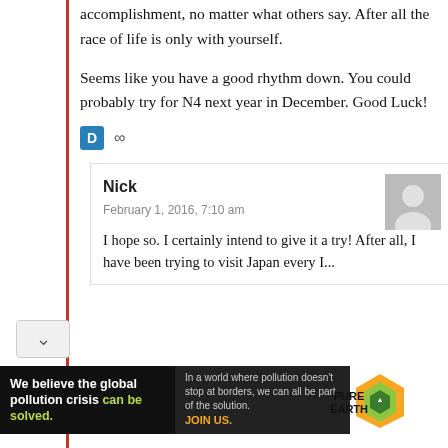accomplishment, no matter what others say. After all the race of life is only with yourself.
Seems like you have a good rhythm down. You could probably try for N4 next year in December. Good Luck!
D ∞
Nick
February 1, 2016, 7:10 am
I hope so. I certainly intend to give it a try! After all, I have been trying to visit Japan every I...
[Figure (infographic): Pure Earth advertisement banner: 'We believe the global pollution crisis can be solved. In a world where pollution doesn't stop at borders, we can all be part of the solution. JOIN US.' with Pure Earth logo.]